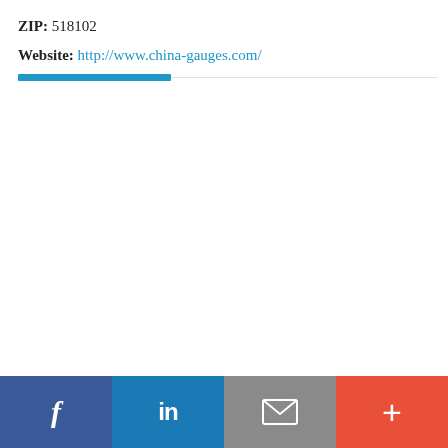ZIP: 518102
Website: http://www.china-gauges.com/
[Figure (other): Decorative blue progress-bar style divider with a thin gray horizontal rule]
[Figure (infographic): Social sharing bar with four buttons: Facebook (dark blue), LinkedIn (medium blue), Email/mail (gray), and a plus/share button (red-orange)]